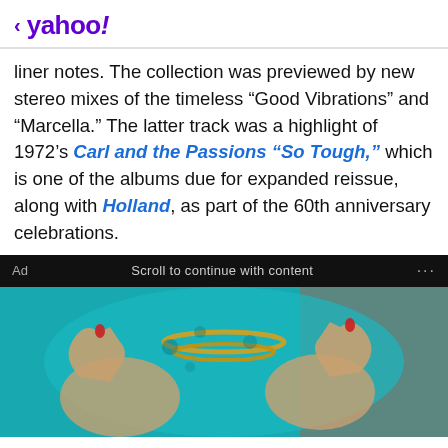< yahoo!
liner notes. The collection was previewed by new stereo mixes of the timeless “Good Vibrations” and “Marcella.” The latter track was a highlight of 1972’s Carl and the Passions “So Tough,” which is one of the albums due for expanded reissue, along with Holland, as part of the 60th anniversary celebrations.
Ad   Scroll to continue with content   …
[Figure (photo): Person wearing teal/blue leopard-print top and gold chain necklaces giving two thumbs up]
HOME EQUITY LINE OF CREDIT
How much do you need?